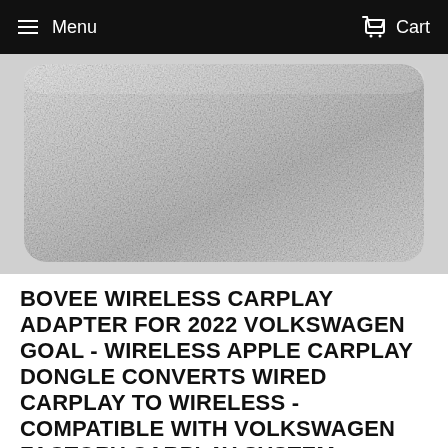Menu   Cart
[Figure (photo): Close-up photo of a silver/grey metallic wireless CarPlay adapter dongle with rounded corners, shown against a light background.]
BOVEE WIRELESS CARPLAY ADAPTER FOR 2022 VOLKSWAGEN GOAL - WIRELESS APPLE CARPLAY DONGLE CONVERTS WIRED CARPLAY TO WIRELESS - COMPATIBLE WITH VOLKSWAGEN FACTORY CARPLAY SYSTEM -